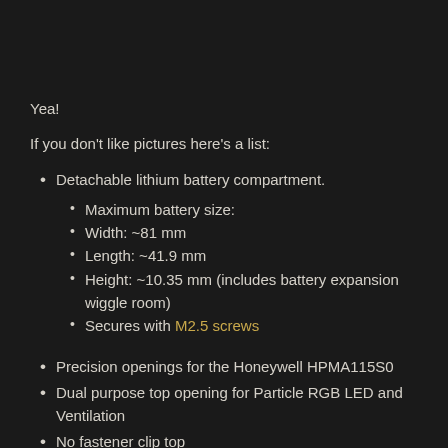Yea!
If you don't like pictures here's a list:
Detachable lithium battery compartment.
Maximum battery size:
Width: ~81 mm
Length: ~41.9 mm
Height: ~10.35 mm (includes battery expansion wiggle room)
Secures with M2.5 screws
Precision openings for the Honeywell HPMA115S0
Dual purpose top opening for Particle RGB LED and Ventilation
No fastener clip top
Enough room for the original AQW and Reduced Size Version (v5 and newer)